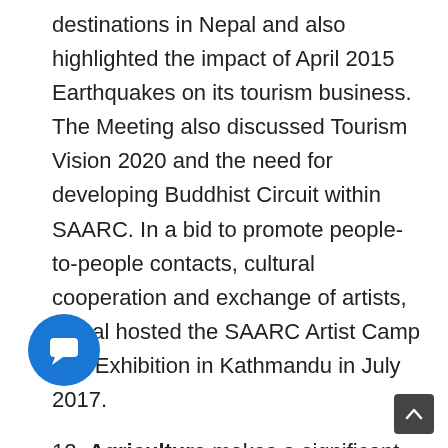destinations in Nepal and also highlighted the impact of April 2015 Earthquakes on its tourism business. The Meeting also discussed Tourism Vision 2020 and the need for developing Buddhist Circuit within SAARC. In a bid to promote people-to-people contacts, cultural cooperation and exchange of artists, Nepal hosted the SAARC Artist Camp and Exhibition in Kathmandu in July 2017.
12. Agriculture makes a significant contribution to the South Asian economy as well as to the livelihood of its people. This sector provides over 40 percent employment opportunities in South Asia. Large portion of South Asia's landmass is still rural. The leaders, at the 18th SAARC Summit, agreed to increase investment, promote research and development, facilitate technical cooperation and apply innovative,